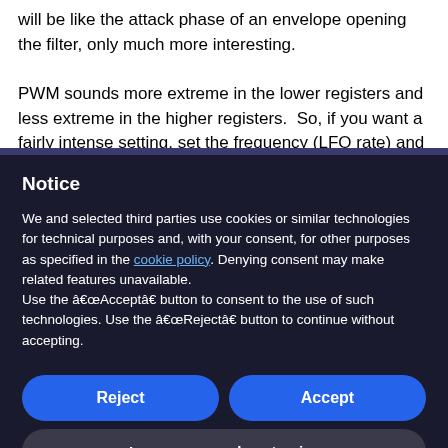will be like the attack phase of an envelope opening the filter, only much more interesting.

PWM sounds more extreme in the lower registers and less extreme in the higher registers.  So, if you want a fairly intense setting, set the frequency (LFO rate) and
Notice
We and selected third parties use cookies or similar technologies for technical purposes and, with your consent, for other purposes as specified in the cookie policy. Denying consent may make related features unavailable.
Use the “Accept” button to consent to the use of such technologies. Use the “Reject” button to continue without accepting.
Reject
Accept
Learn more and customize